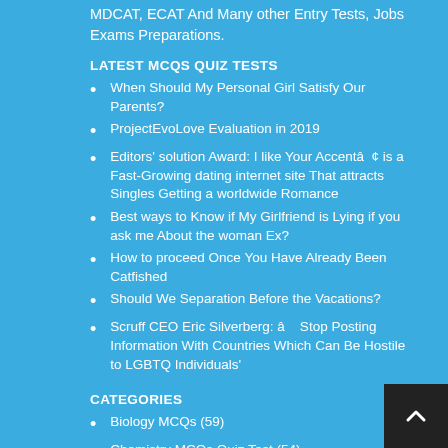MDCAT, ECAT And Many other Entry Tests, Jobs Exams Preparations.
LATEST MCQS QUIZ TESTS
When Should My Personal Girl Satisfy Our Parents?
ProjectEvoLove Evaluation in 2019
Editors’ solution Award: I like Your Accentâ is a Fast-Growing dating internet site That attracts Singles Getting a worldwide Romance
Best ways to Know if My Girlfriend is Lying if you ask me About the woman Ex?
How to proceed Once You Have Already Been Catfished
Should We Separation Before the Vacations?
Scruff CEO Eric Silverberg: âStop Posting Information With Countries Which Can Be Hostile to LGBTQ Individuals’
CATEGORIES
Biology MCQs (59)
Chemistry MCQs Quiz Test (54)
Computer Science MCQs Quiz Test (23)